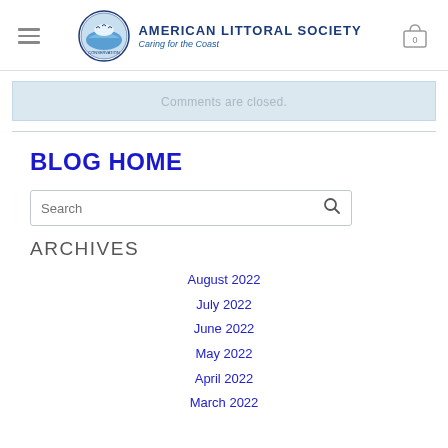AMERICAN LITTORAL SOCIETY — Caring for the Coast
Comments are closed.
BLOG HOME
Search
ARCHIVES
August 2022
July 2022
June 2022
May 2022
April 2022
March 2022